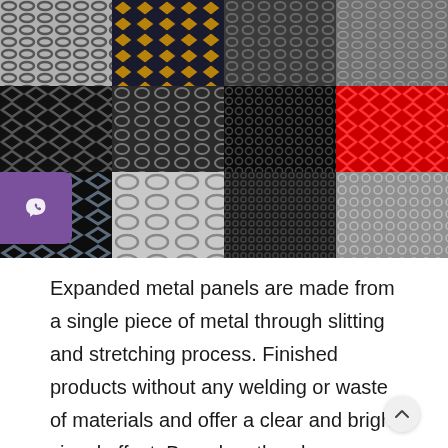[Figure (photo): Grid of 12 photos showing various expanded metal mesh panels in different patterns and colors: diamond mesh, hexagonal mesh, round hole perforated, red diamond mesh, large diamond expanded metal, perspective shots of mesh, and fine mesh. Three rows of four images each.]
Expanded metal panels are made from a single piece of metal through slitting and stretching process. Finished products without any welding or waste of materials and offer a clear and bright visual effect. Based on the above characteristics, expanded metal panel are ideally used as the infill panels for balustrade & railing. They are multipurpose for bridge, terrace, balcony, stairs and so